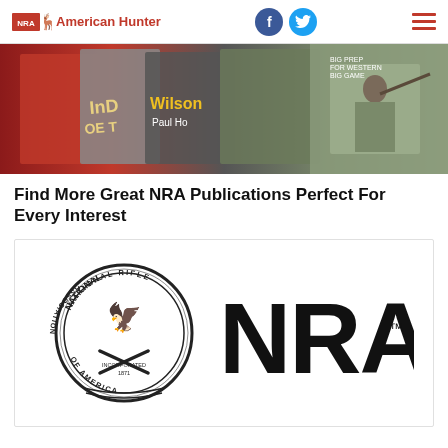NRA American Hunter
[Figure (photo): Hero banner image showing NRA American Hunter magazine covers and a hunter in camouflage with a rifle]
Find More Great NRA Publications Perfect For Every Interest
[Figure (logo): NRA logo: National Rifle Association of America circular seal on the left and large bold NRA text with TM on the right, on a white card background]